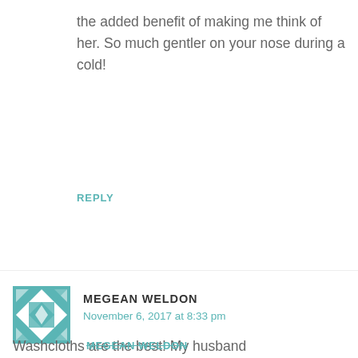the added benefit of making me think of her. So much gentler on your nose during a cold!
REPLY
[Figure (illustration): Teal and white geometric quilt pattern avatar icon for Megean Weldon]
MEGEAN WELDON
November 6, 2017 at 8:33 pm
Washcloths are the best! My husband prefers using those over t-shirts. Aren't
Privacy & Cookies: This site uses cookies. By continuing to use this website, you agree to their use.
To find out more, including how to control cookies, see here: Cookie Policy
❯ Privacy Preferences
I Agree
Close and acce…
35
MEGEAN WELDON